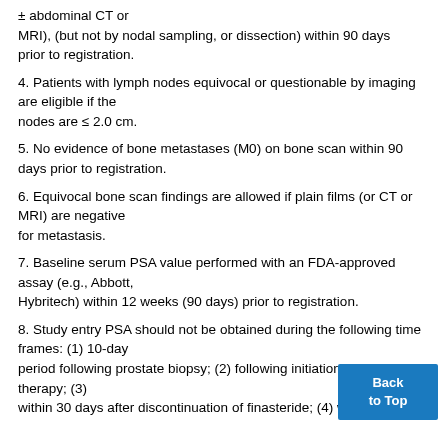± abdominal CT or MRI), (but not by nodal sampling, or dissection) within 90 days prior to registration.
4. Patients with lymph nodes equivocal or questionable by imaging are eligible if the nodes are ≤ 2.0 cm.
5. No evidence of bone metastases (M0) on bone scan within 90 days prior to registration.
6. Equivocal bone scan findings are allowed if plain films (or CT or MRI) are negative for metastasis.
7. Baseline serum PSA value performed with an FDA-approved assay (e.g., Abbott, Hybritech) within 12 weeks (90 days) prior to registration.
8. Study entry PSA should not be obtained during the following time frames: (1) 10-day period following prostate biopsy; (2) following initiation of therapy; (3) within 30 days after discontinuation of finasteride; (4) w...